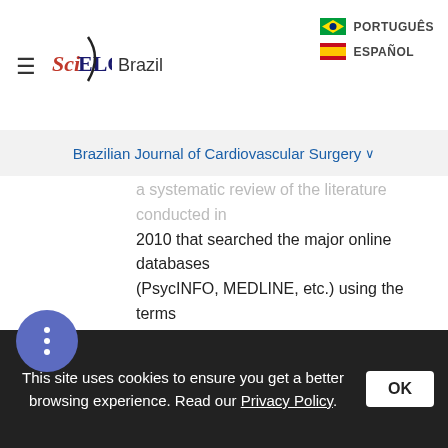[Figure (logo): SciELO Brazil logo with hamburger menu icon on the left]
Brazilian Journal of Cardiovascular Surgery
a systematic review of the literature conducted in 2010 that searched the major online databases (PsycINFO, MEDLINE, etc.) using the terms "religion," "religiosity," "religiousness," and "spirituality" to identify original quantitative data-based research on R/S and health. The online database search was supplemented by asking researchers in the field of R/S and health for any published reports of research that they had conducted on this topic. Furthermore, studies that were cited in the reference lists of the reports identified in this manner were tracked down and included in the review, as this ensures the capturing
This site uses cookies to ensure you get a better browsing experience. Read our Privacy Policy.